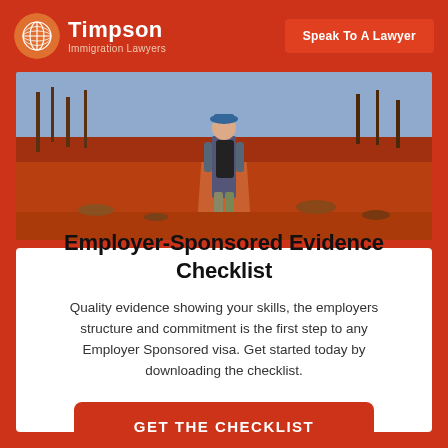Timpson Immigration Lawyers | Speak To A Lawyer
[Figure (photo): Person with backpack walking along a red dirt path through Australian outback landscape with sparse red soil and scrub vegetation]
Employer-Sponsored Evidence Checklist
Quality evidence showing your skills, the employers structure and commitment is the first step to any Employer Sponsored visa. Get started today by downloading the checklist.
GET THE CHECKLIST